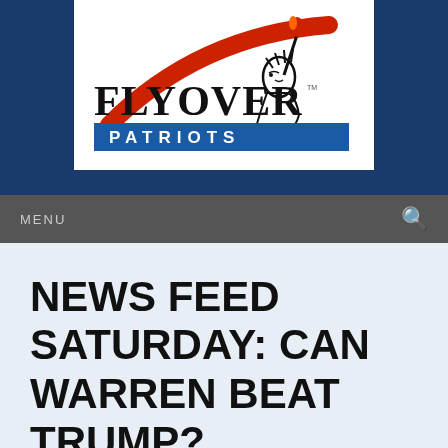[Figure (logo): Flyover Patriots logo with Statue of Liberty holding torch and red swoosh, text FLYOVER in large serif font, PATRIOTS in blue banner below]
MENU
NEWS FEED SATURDAY: CAN WARREN BEAT TRUMP?